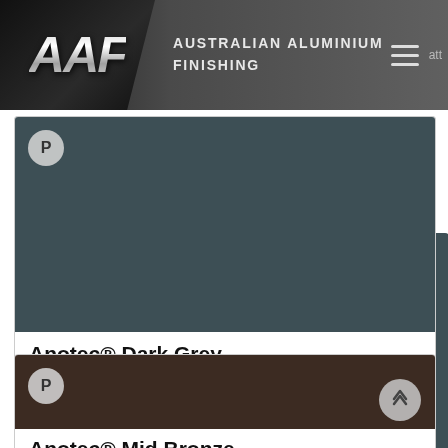AAF — AUSTRALIAN ALUMINIUM FINISHING
[Figure (photo): Dark grey aluminium colour swatch with 'P' badge]
Anotec® Dark Grey
272-51275    Matt
[Figure (photo): Mid bronze aluminium colour swatch with 'P' badge and scroll-up button]
Anotec® Mid Bronze
Matt